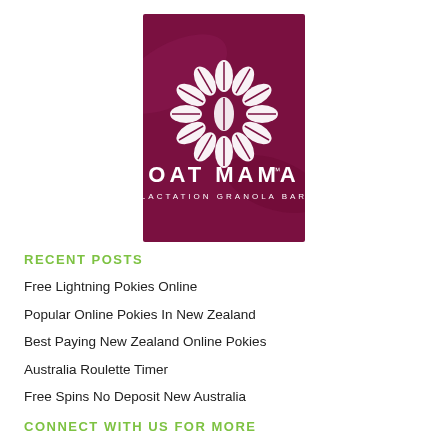[Figure (logo): Oat Mama Lactation Granola Bar logo with white coffee bean flower design on dark magenta/maroon background]
RECENT POSTS
Free Lightning Pokies Online
Popular Online Pokies In New Zealand
Best Paying New Zealand Online Pokies
Australia Roulette Timer
Free Spins No Deposit New Australia
CONNECT WITH US FOR MORE